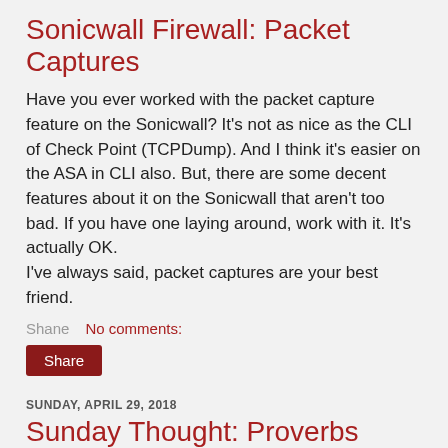Sonicwall Firewall: Packet Captures
Have you ever worked with the packet capture feature on the Sonicwall? It's not as nice as the CLI of Check Point (TCPDump). And I think it's easier on the ASA in CLI also. But, there are some decent features about it on the Sonicwall that aren't too bad. If you have one laying around, work with it. It's actually OK.
I've always said, packet captures are your best friend.
Shane   No comments:
Share
SUNDAY, APRIL 29, 2018
Sunday Thought: Proverbs 18:24
One who has unreliable friends soon comes to ruin, but there is a friend who sticks closer than a brother.
Shane   No comments: